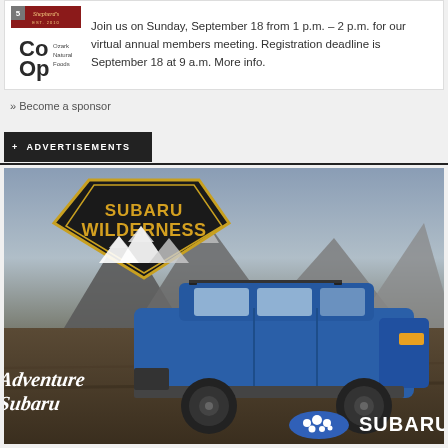[Figure (logo): Ozark Natural Foods Co-op logo with red decorative branding and Co-Op text]
Join us on Sunday, September 18 from 1 p.m. – 2 p.m. for our virtual annual members meeting. Registration deadline is September 18 at 9 a.m. More info.
» Become a sponsor
+ ADVERTISEMENTS
[Figure (photo): Subaru Wilderness advertisement showing a blue Subaru Outback Wilderness edition on a dirt trail with mountains in background. Text reads 'SUBARU WILDERNESS', 'Adventure Subaru', and 'SUBARU' with Subaru star logo.]